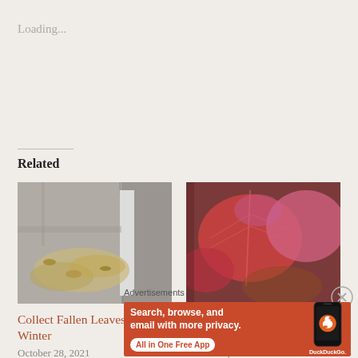Loading...
Related
[Figure (photo): Close-up of cracked pavement with dried leaves and dirt along the edge, photo for 'Collect Fallen Leaves Before Winter']
Collect Fallen Leaves Before Winter
October 28, 2021
[Figure (photo): Close-up of vibrant red and pink autumn leaves, photo for 'Deciduous Trees Defoliate Through Autumn']
Deciduous Trees Defoliate Through Autumn
October 5, 2020
Advertisements
[Figure (screenshot): DuckDuckGo advertisement banner: 'Search, browse, and email with more privacy. All in One Free App' with DuckDuckGo logo and phone image on orange/red background]